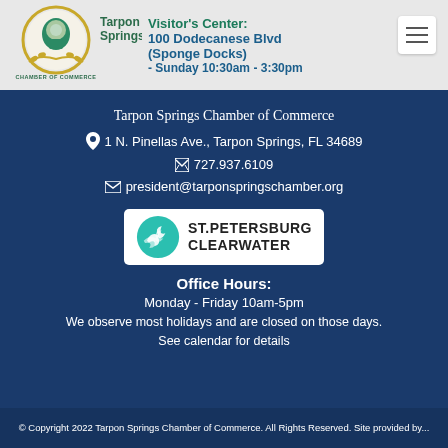[Figure (logo): Tarpon Springs Chamber of Commerce logo with diver in circle and olive branch]
Visitor's Center:
100 Dodecanese Blvd (Sponge Docks)
- Sunday 10:30am - 3:30pm
Tarpon Springs Chamber of Commerce
1 N. Pinellas Ave., Tarpon Springs, FL 34689
727.937.6109
president@tarponspringschamber.org
[Figure (logo): St. Petersburg Clearwater tourism logo with teal wave graphic]
Office Hours:
Monday - Friday 10am-5pm
We observe most holidays and are closed on those days. See calendar for details
© Copyright 2022 Tarpon Springs Chamber of Commerce. All Rights Reserved. Site provided by...